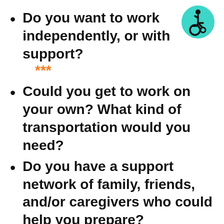[Figure (illustration): Teal/cyan circular icon with a person in a wheelchair symbol in black, on white background]
Do you want to work independently, or with support?
***
Could you get to work on your own? What kind of transportation would you need?
Do you have a support network of family, friends, and/or caregivers who could help you prepare?
Have you taken on responsibilities before (for example: chores,